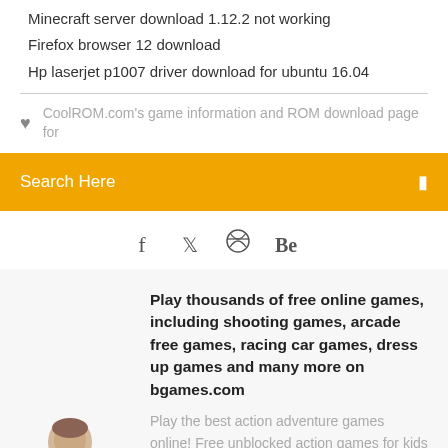Minecraft server download 1.12.2 not working
Firefox browser 12 download
Hp laserjet p1007 driver download for ubuntu 16.04
CoolROM.com's game information and ROM download page for
Search Here
[Figure (infographic): Social media icons: Facebook (f), Twitter (bird), a circle icon, and Behance (Be)]
Play thousands of free online games, including shooting games, arcade free games, racing car games, dress up games and many more on bgames.com
Play the best action adventure games online! Free unblocked action games for kids and adults. From live action to RPG, we have all the video action